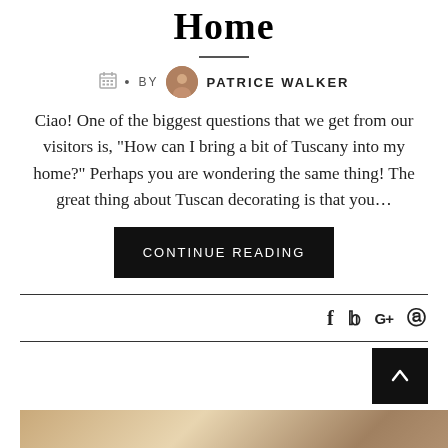Home
BY PATRICE WALKER
Ciao! One of the biggest questions that we get from our visitors is, “How can I bring a bit of Tuscany into my home?” Perhaps you are wondering the same thing! The great thing about Tuscan decorating is that you…
CONTINUE READING
f  𝑧  G+  Ⓟ